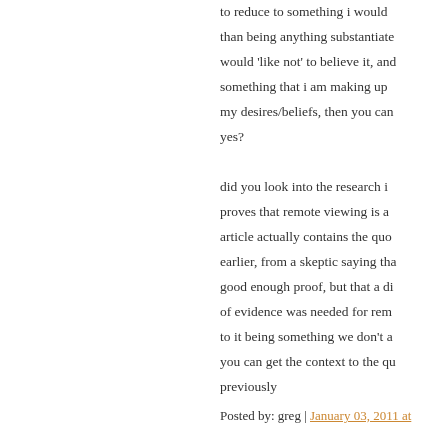to reduce to something i would than being anything substantiate would 'like not' to believe it, and something that i am making up my desires/beliefs, then you can yes?

did you look into the research i proves that remote viewing is a article actually contains the quo earlier, from a skeptic saying tha good enough proof, but that a di of evidence was needed for rem to it being something we don't a you can get the context to the qu previously
Posted by: greg | January 03, 2011 at